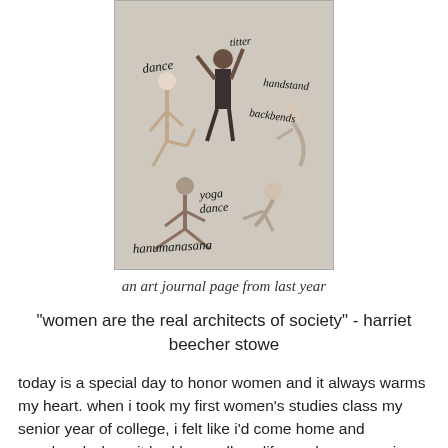[Figure (photo): An art journal page showing multiple people in dance and yoga poses, with handwritten labels including 'dance', 'handstand', 'backbends', 'yoga dance', and 'hanumanasana']
an art journal page from last year
"women are the real architects of society" - harriet beecher stowe
today is a special day to honor women and it always warms my heart. when i took my first women's studies class my senior year of college, i felt like i'd come home and wondered where it had been all my life. such eye-opening curriculum - especially for a girl from oklahoma. next i pursued a master's in women's studies with bells on. although i was seeking a more spiritual approach to the curriculum, i loved learning